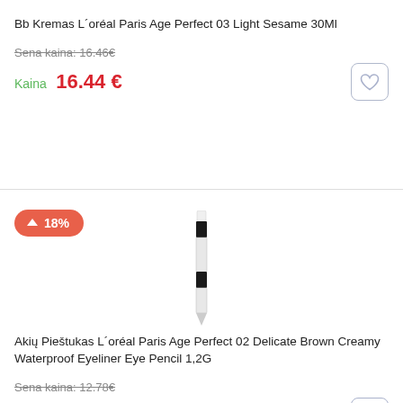Bb Kremas L´oréal Paris Age Perfect 03 Light Sesame 30Ml
Sena kaina: 16.46€
Kaina  16.44 €
[Figure (other): Wishlist heart icon button]
[Figure (other): Badge showing 18% price increase arrow up]
[Figure (photo): Product image: eyeliner pencil, white and black, vertical orientation]
Akių Pieštukas L´oréal Paris Age Perfect 02 Delicate Brown Creamy Waterproof Eyeliner Eye Pencil 1,2G
Sena kaina: 12.78€
Kaina  15.06 €
[Figure (other): Wishlist heart icon button (outlined)]
[Figure (other): Scroll to top button, dark background with up arrow]